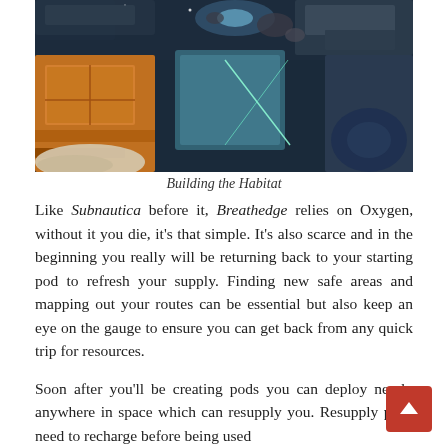[Figure (screenshot): In-game screenshot from Breathedge showing a first-person view of a habitat being built in space, with colorful debris, equipment containers and a glowing blue holographic interface element visible.]
Building the Habitat
Like Subnautica before it, Breathedge relies on Oxygen, without it you die, it's that simple. It's also scarce and in the beginning you really will be returning back to your starting pod to refresh your supply. Finding new safe areas and mapping out your routes can be essential but also keep an eye on the gauge to ensure you can get back from any quick trip for resources.
Soon after you'll be creating pods you can deploy nearly anywhere in space which can resupply you. Resupply pods need to recharge before being used